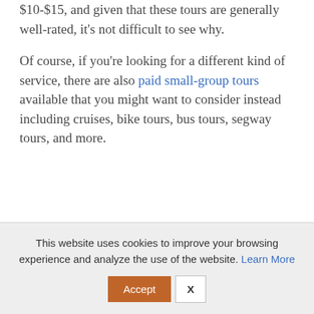$10-$15, and given that these tours are generally well-rated, it's not difficult to see why.
Of course, if you're looking for a different kind of service, there are also paid small-group tours available that you might want to consider instead including cruises, bike tours, bus tours, segway tours, and more.
This website uses cookies to improve your browsing experience and analyze the use of the website. Learn More